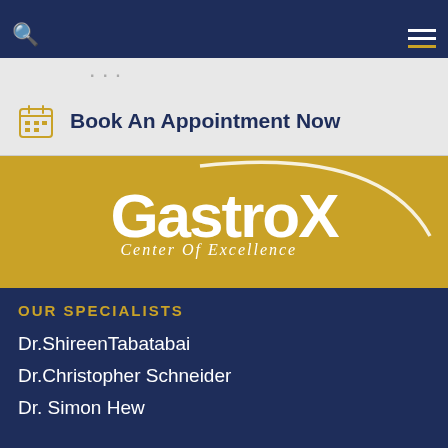[Figure (screenshot): Navigation bar with dark blue background, search icon on left, hamburger menu icon on right with gold bottom line]
...
Book An Appointment Now
[Figure (logo): GastroX Center Of Excellence logo on gold/yellow background with white swoosh arc and white text]
OUR SPECIALISTS
Dr.ShireenTabatabai
Dr.Christopher Schneider
Dr. Simon Hew